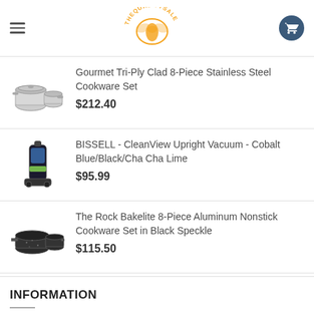THEQUALITYSALE (logo)
Gourmet Tri-Ply Clad 8-Piece Stainless Steel Cookware Set
$212.40
BISSELL - CleanView Upright Vacuum - Cobalt Blue/Black/Cha Cha Lime
$95.99
The Rock Bakelite 8-Piece Aluminum Nonstick Cookware Set in Black Speckle
$115.50
INFORMATION